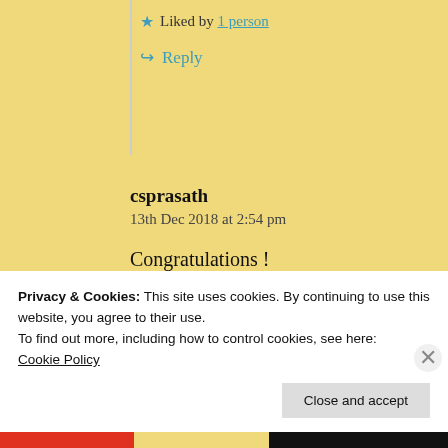★ Liked by 1 person
↪ Reply
csprasath
13th Dec 2018 at 2:54 pm
Congratulations !
★ Liked by 1 person
Privacy & Cookies: This site uses cookies. By continuing to use this website, you agree to their use.
To find out more, including how to control cookies, see here:
Cookie Policy
Close and accept